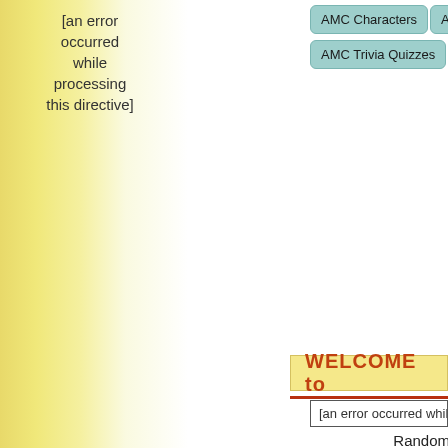[an error occurred while processing this directive]
[Figure (screenshot): Navigation buttons row 1: AMC Characters, AMC Fan Fiction, AMC (truncated)]
[Figure (screenshot): Navigation buttons row 2: AMC Trivia Quizzes, AMC Wallpaper, AM (truncated)]
WELCOME to
[an error occurred while p
Random Th